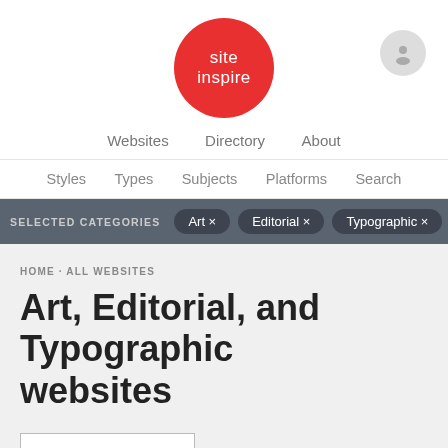[Figure (logo): SiteInspire logo: red circle with white text 'site inspire']
Websites  Directory  About
Styles  Types  Subjects  Platforms  Search
SELECTED CATEGORIES   Art ×   Editorial ×   Typographic ×
HOME · ALL WEBSITES
Art, Editorial, and Typographic websites
Submit a Website